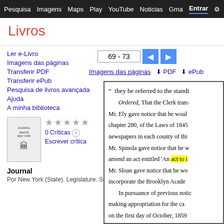Pesquisa  Imagens  Maps  Play  YouTube  Noticias  Gmail  Entrar
Livros
Ler e-Livro
Imagens das páginas
Transferir PDF
Transferir ePub
Pesquisa de livros avançada
Ajuda
A minha biblioteca
0 Críticas
Escrever crítica
Journal
Por New York (State). Legislature. Senate
69 - 73
Imagens das páginas  ↓ PDF  ↓ ePub
[Figure (screenshot): Book preview showing scanned text from Journal, New York State Legislature Senate, pages 69-73. Text visible: '" they be referred to the standi... Ordered, That the Clerk trans... Mr. Ely gave notice that he woul... chapter 280, of the Laws of 1845... newspapers in each county of thi... Mr. Spinola gave notice that he w... amend an act entitled 'An act to i... (highlighted in yellow) Mr. Sloan gave notice that he wo... incorporate the Brooklyn Acade... In pursuance of previous notic... making appropriation for the ca... on the first day of October, 1859... first time, and by unanimous con...']